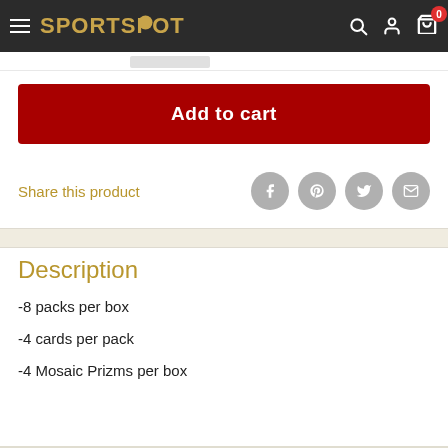SPORTSPOT
[Figure (screenshot): Add to cart button (dark red/maroon)]
Share this product
Description
-8 packs per box
-4 cards per pack
-4 Mosaic Prizms per box